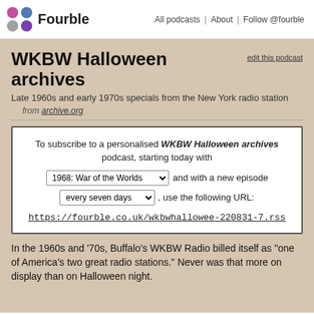Fourble   All podcasts | About | Follow @fourble
WKBW Halloween archives
Late 1960s and early 1970s specials from the New York radio station
from archive.org
To subscribe to a personalised WKBW Halloween archives podcast, starting today with [1968: War of the Worlds] and with a new episode [every seven days], use the following URL: https://fourble.co.uk/wkbwhallowee-220831-7.rss
In the 1960s and '70s, Buffalo's WKBW Radio billed itself as "one of America's two great radio stations." Never was that more on display than on Halloween night.